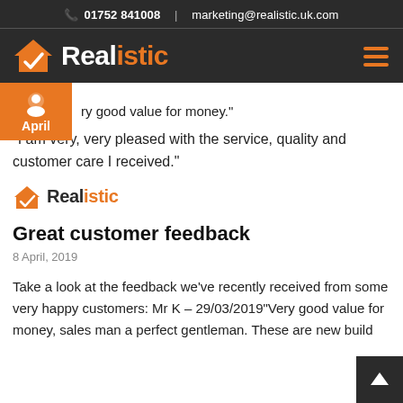📞 01752 841008  |  marketing@realistic.uk.com
[Figure (logo): Realistic logo: orange house with checkmark, white text 'Realistic' on dark background. Hamburger menu icon top right.]
ry good value for money."
"I am very, very pleased with the service, quality and customer care I received."
[Figure (logo): Small Realistic logo: orange house with checkmark, dark text 'Realistic']
Great customer feedback
8 April, 2019
Take a look at the feedback we've recently received from some very happy customers: Mr K  – 29/03/2019"Very good value for money, sales man a perfect gentleman. These are new build